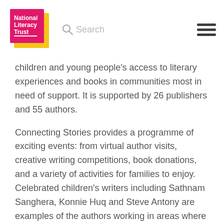National Literacy Trust | Search | Menu
children and young people's access to literary experiences and books in communities most in need of support. It is supported by 26 publishers and 55 authors.
Connecting Stories provides a programme of exciting events: from virtual author visits, creative writing competitions, book donations, and a variety of activities for families to enjoy. Celebrated children's writers including Sathnam Sanghera, Konnie Huq and Steve Antony are examples of the authors working in areas where they fit the age group and demographic of the audience of children and young people.
What's on: